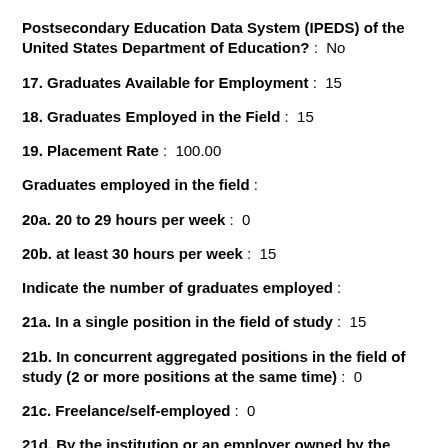Postsecondary Education Data System (IPEDS) of the United States Department of Education?: No
17. Graduates Available for Employment: 15
18. Graduates Employed in the Field: 15
19. Placement Rate: 100.00
Graduates employed in the field:
20a. 20 to 29 hours per week: 0
20b. at least 30 hours per week: 15
Indicate the number of graduates employed:
21a. In a single position in the field of study: 15
21b. In concurrent aggregated positions in the field of study (2 or more positions at the same time): 0
21c. Freelance/self-employed: 0
21d. By the institution or an employer owned by the institution, or an employer who shares ownership or control of the institution: